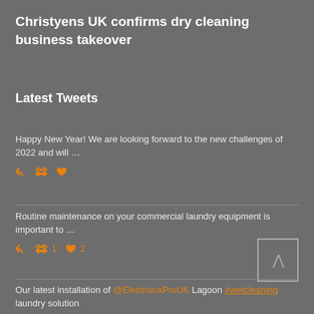Christyens UK confirms dry cleaning business takeover
Latest Tweets
Happy New Year! We are looking forward to the new challenges of 2022 and will …
Routine maintenance on your commercial laundry equipment is important to …
Our latest installation of @ElectroluxProUK Lagoon #wetcleaning laundry solution